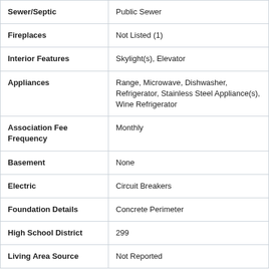| Field | Value |
| --- | --- |
| Sewer/Septic | Public Sewer |
| Fireplaces | Not Listed (1) |
| Interior Features | Skylight(s), Elevator |
| Appliances | Range, Microwave, Dishwasher, Refrigerator, Stainless Steel Appliance(s), Wine Refrigerator |
| Association Fee Frequency | Monthly |
| Basement | None |
| Electric | Circuit Breakers |
| Foundation Details | Concrete Perimeter |
| High School District | 299 |
| Living Area Source | Not Reported |